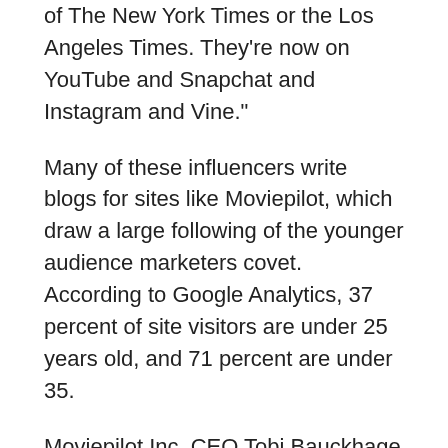of The New York Times or the Los Angeles Times. They're now on YouTube and Snapchat and Instagram and Vine."
Many of these influencers write blogs for sites like Moviepilot, which draw a large following of the younger audience marketers covet. According to Google Analytics, 37 percent of site visitors are under 25 years old, and 71 percent are under 35.
Moviepilot Inc. CEO Tobi Bauckhage says that last fall, he and his co-founders decided to change the direction of their movie fan site. Now they take posts directly from readers and usage has begun to take off. In March, it had 17.3 million unique U.S. visitors. That was more than double that of a year ago, according to comScore. In a single week in April, fan posts outnumbered editor posts 1,431 to 486.